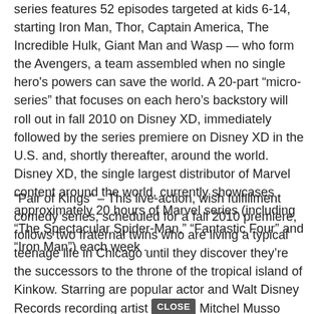series features 52 episodes targeted at kids 6-14, starting Iron Man, Thor, Captain America, The Incredible Hulk, Giant Man and Wasp — who form the Avengers, a team assembled when no single hero's powers can save the world. A 20-part "micro-series" that focuses on each hero's backstory will roll out in fall 2010 on Disney XD, immediately followed by the series premiere on Disney XD in the U.S. and, shortly thereafter, around the world. Disney XD, the single largest distributor of Marvel content around the world, currently showcases approximately 20 hours of Marvel series (including "The Spectacular Spider-Man," "Fantastic Four" and "Iron Man") each week .
"Pair of Kings" – This live-action, wish fulfillment comedy series, scheduled for a fall 2010 premiere, follows two fraternal twins who are living a typical teenage life in Chicago until they discover they're the successors to the throne of the tropical island of Kinkow. Starring are popular actor and Walt Disney Records recording artist Mitchel Musso ("Hannah Montana," "Phineas and Ferb") and Doc Shaw ("The Suite Life on Deck," "Tyler Perry's House of Payne").